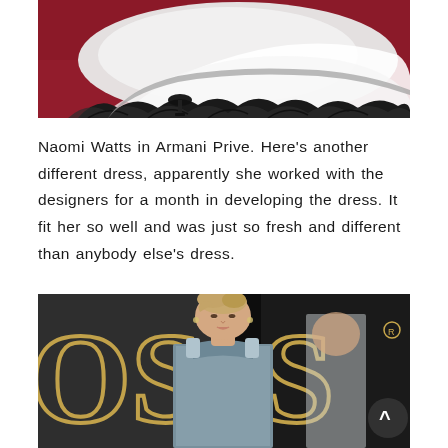[Figure (photo): Close-up photo of a white and black gown with ruffled black hem trailing on a red carpet, with a high-heeled sandal visible]
Naomi Watts in Armani Prive. Here's another different dress, apparently she worked with the designers for a month in developing the dress. It fit her so well and was just so fresh and different than anybody else's dress.
[Figure (photo): Naomi Watts posing at the Oscars red carpet wearing a sparkling silver/blue gown, with gold Oscar lettering visible in the background. A scroll-to-top button is visible in the bottom right corner.]